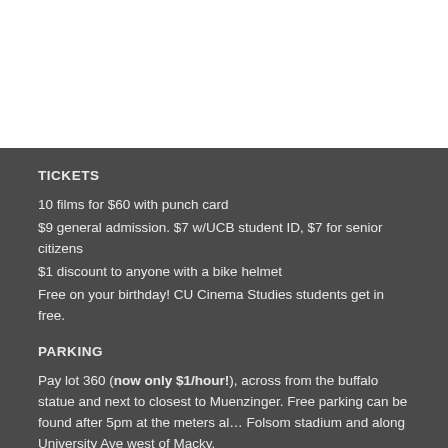TICKETS
10 films for $60 with punch card
$9 general admission. $7 w/UCB student ID, $7 for senior citizens
$1 discount to anyone with a bike helmet
Free on your birthday! CU Cinema Studies students get in free.
PARKING
Pay lot 360 (now only $1/hour!), across from the buffalo statue and next to closest to Muenzinger. Free parking can be found after 5pm at the meters along Folsom stadium and along University Ave west of Macky.
RTD BUS
Park elsewhere and catch the HOP to campus
INTERNATIONAL FILM SERIES